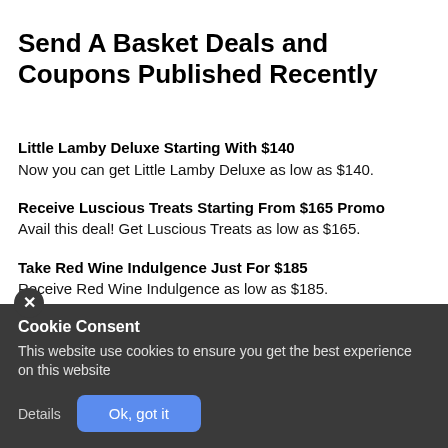Send A Basket Deals and Coupons Published Recently
Little Lamby Deluxe Starting With $140
Now you can get Little Lamby Deluxe as low as $140.
Receive Luscious Treats Starting From $165 Promo
Avail this deal! Get Luscious Treats as low as $165.
Take Red Wine Indulgence Just For $185
Receive Red Wine Indulgence as low as $185.
Receive Come Together Only For $185
Take an advantage of this deal! Get Come Together as low as $185.
Cookie Consent
This website use cookies to ensure you get the best experience on this website
Details  Ok, got it